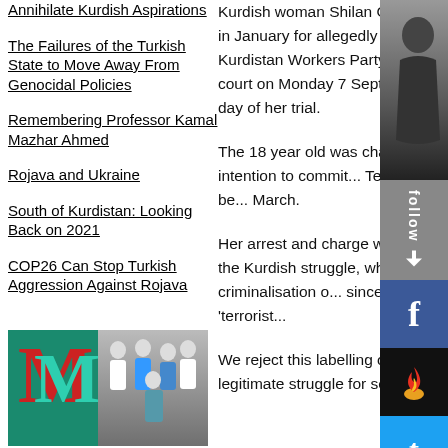Annihilate Kurdish Aspirations
The Failures of the Turkish State to Move Away From Genocidal Policies
Remembering Professor Kamal Mazhar Ahmed
Rojava and Ukraine
South of Kurdistan: Looking Back on 2021
COP26 Can Stop Turkish Aggression Against Rojava
[Figure (photo): Morgan Menzies Limited advertisement with logo and group of medical/professional staff]
Specialist Accountants for Doctors, Engineers
Kurdish woman Shilan Ozcelik, who was arrested in January for allegedly attempting to join the Kurdistan Workers Party (PKK), will appear in court on Monday 7 September, 10am, for the first day of her trial.
The 18 year old was charged w... effect to an intention to commit... Terrorism Act 2006 and has be... March.
Her arrest and charge was met... supporters of the Kurdish struggle, wh... selective and political criminalisation o... since the PKK was listed as a ‘terrorist...
We reject this labelling of the PKK, wh... legitimate struggle for self-determinati...
[Figure (photo): Portrait photo of Shilan Ozcelik, partially visible on right side]
[Figure (other): Follow button bar with Facebook, fire logo, and Twitter icons]